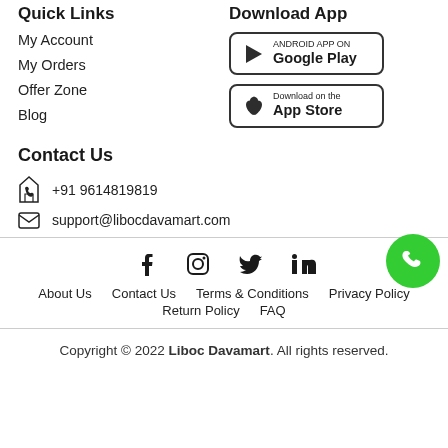Quick Links
My Account
My Orders
Offer Zone
Blog
Download App
[Figure (other): Google Play Store badge]
[Figure (other): Apple App Store badge]
Contact Us
+91 9614819819
support@libocdavamart.com
[Figure (other): Social media icons: Facebook, Instagram, Twitter, LinkedIn]
About Us   Contact Us   Terms & Conditions   Privacy Policy
Return Policy   FAQ
Copyright © 2022 Liboc Davamart. All rights reserved.